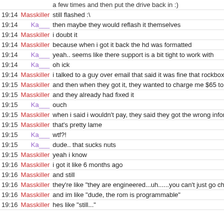| Time | Nick | Message |
| --- | --- | --- |
|  |  | a few times and then put the drive back in :) |
| 19:14 | Masskiller | still flashed :\ |
| 19:14 | Ka___ | then maybe they would reflash it themselves |
| 19:14 | Masskiller | i doubt it |
| 19:14 | Masskiller | because when i got it back the hd was formatted |
| 19:14 | Ka___ | yeah.. seems like there support is a bit tight to work with |
| 19:14 | Ka___ | oh ick |
| 19:14 | Masskiller | i talked to a guy over email that said it was fine that rockbox was on it |
| 19:15 | Masskiller | and then when they got it, they wanted to charge me $65 to repair it |
| 19:15 | Masskiller | and they already had fixed it |
| 19:15 | Ka___ | ouch |
| 19:15 | Masskiller | when i said i wouldn't pay, they said they got the wrong information, and they actually couldn't repair it |
| 19:15 | Masskiller | that's pretty lame |
| 19:15 | Ka___ | wtf?! |
| 19:15 | Ka___ | dude.. that sucks nuts |
| 19:15 | Masskiller | yeah i know |
| 19:16 | Masskiller | i got it like 6 months ago |
| 19:16 | Masskiller | and still |
| 19:16 | Masskiller | they're like "they are engineered...uh......you can't just go changing that stufF" |
| 19:16 | Masskiller | and im like "dude, the rom is programmable" |
| 19:16 | Masskiller | hes like "still..." |